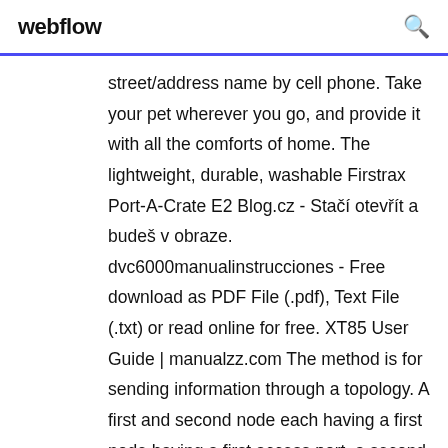webflow
street/address name by cell phone. Take your pet wherever you go, and provide it with all the comforts of home. The lightweight, durable, washable Firstrax Port-A-Crate E2 Blog.cz - Stačí otevřít a budeš v obraze. dvc6000manualinstrucciones - Free download as PDF File (.pdf), Text File (.txt) or read online for free. XT85 User Guide | manualzz.com The method is for sending information through a topology. A first and second node each having a first node having a first access port, a second access port and a first uplink connected to a first router and a second router, respectively. Differentiated by the costs and benefits, this table will help you compare and contrast our